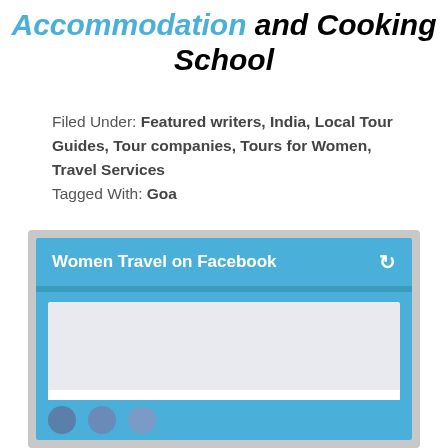Accommodation and Cooking School
Filed Under: Featured writers, India, Local Tour Guides, Tour companies, Tours for Women, Travel Services
Tagged With: Goa
[Figure (screenshot): Facebook widget titled 'Women Travel on Facebook' with a blue header and a white card showing 'Timeline photos' with text 'Venice & The Croatian Coast, A Woman Only Tour https://buff.ly/3OIefqm']